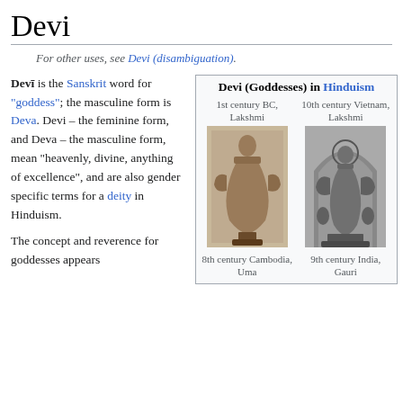Devi
For other uses, see Devi (disambiguation).
Devī is the Sanskrit word for "goddess"; the masculine form is Deva. Devi – the feminine form, and Deva – the masculine form, mean "heavenly, divine, anything of excellence", and are also gender specific terms for a deity in Hinduism.
The concept and reverence for goddesses appears
[Figure (infographic): Infobox titled 'Devi (Goddesses) in Hinduism' showing four Hindu goddess statues: top-left caption '1st century BC, Lakshmi', top-right caption '10th century Vietnam, Lakshmi', bottom-left image of 8th century Cambodia, Uma statue, bottom-right image of 9th century India, Gauri statue.]